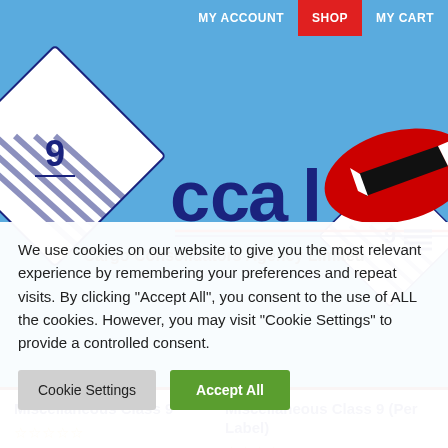MY ACCOUNT  SHOP  MY CART
[Figure (logo): Cargo Consolidators Agency Limited logo with Trinidad and Tobago flag motif and hazmat class 9 diamond symbols on blue background. Tagline: INTEGRITY • RELIABILITY • EFFICIENCY]
Miscellaneous Class 9
Miscellaneous Class 9 (Per Label)
We use cookies on our website to give you the most relevant experience by remembering your preferences and repeat visits. By clicking "Accept All", you consent to the use of ALL the cookies. However, you may visit "Cookie Settings" to provide a controlled consent.
Cookie Settings
Accept All